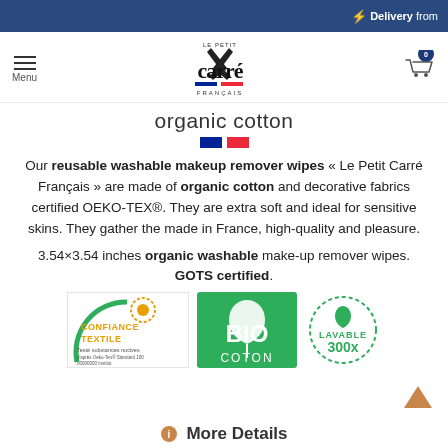⚡ Delivery from
[Figure (logo): Le Petit Carré Français logo with cart icon and menu]
organic cotton
[Figure (illustration): French flag colors divider: blue and red rectangles]
Our reusable washable makeup remover wipes « Le Petit Carré Français » are made of organic cotton and decorative fabrics certified OEKO-TEX®. They are extra soft and ideal for sensitive skins. They gather the made in France, high-quality and pleasure.
3.54×3.54 inches organic washable make-up remover wipes. GOTS certified.
[Figure (illustration): Three certification badges: Confiance Textile / OEKO-TEX, BIO COTON (green), and Lavable 300x (dotted circle)]
More Details